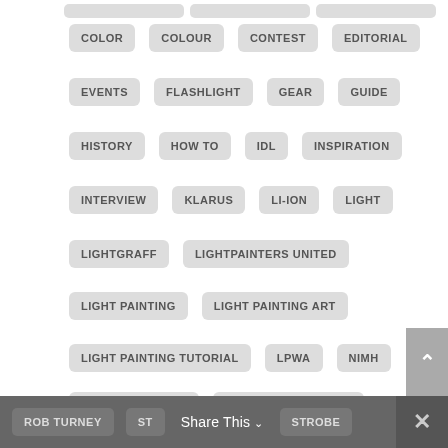COLOR
COLOUR
CONTEST
EDITORIAL
EVENTS
FLASHLIGHT
GEAR
GUIDE
HISTORY
HOW TO
IDL
INSPIRATION
INTERVIEW
KLARUS
LI-ION
LIGHT
LIGHTGRAFF
LIGHTPAINTERS UNITED
LIGHT PAINTING
LIGHT PAINTING ART
LIGHT PAINTING TUTORIAL
LPWA
NIMH
PATRICK ROCHON
PHOTO OF THE WEEK
PHOTO OF WEEK
REVIEW
RGB
ROB TURNEY  STEN  STROBE  Share This